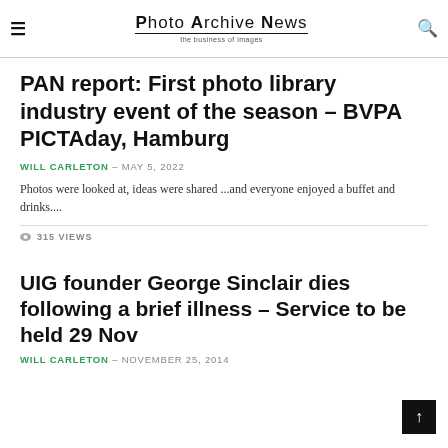Photo Archive News — the business of images
PAN report: First photo library industry event of the season – BVPA PICTAday, Hamburg
WILL CARLETON – MAY 5, 2022
Photos were looked at, ideas were shared ...and everyone enjoyed a buffet and drinks....
315 VIEWS
UIG founder George Sinclair dies following a brief illness – Service to be held 29 Nov
WILL CARLETON – NOVEMBER 25, 2014